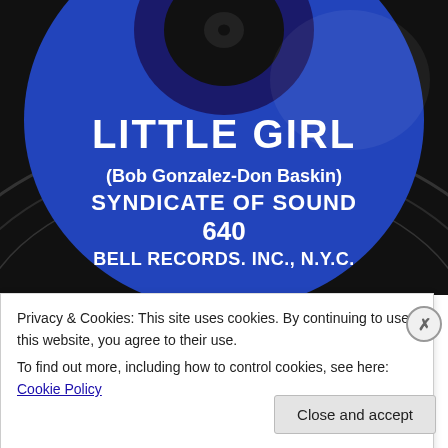[Figure (photo): Close-up photograph of a blue vinyl record label. White text reads: LITTLE GIRL / (Bob Gonzalez-Don Baskin) / SYNDICATE OF SOUND / 640 / BELL RECORDS. INC., N.Y.C.]
Privacy & Cookies: This site uses cookies. By continuing to use this website, you agree to their use.
To find out more, including how to control cookies, see here: Cookie Policy
Close and accept